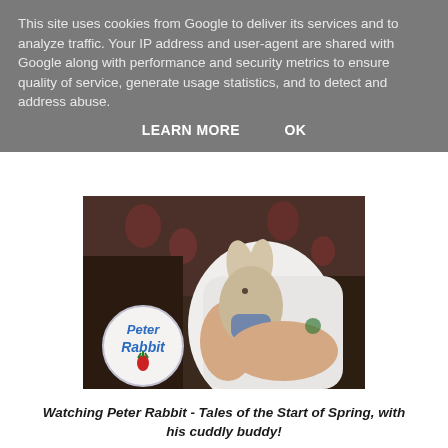This site uses cookies from Google to deliver its services and to analyze traffic. Your IP address and user-agent are shared with Google along with performance and security metrics to ensure quality of service, generate usage statistics, and to detect and address abuse.
LEARN MORE    OK
[Figure (photo): A child in a white t-shirt holding a Peter Rabbit stuffed toy/cuddly toy, with the Peter Rabbit logo overlaid in the lower left corner of the image.]
Watching Peter Rabbit - Tales of the Start of Spring, with his cuddly buddy!